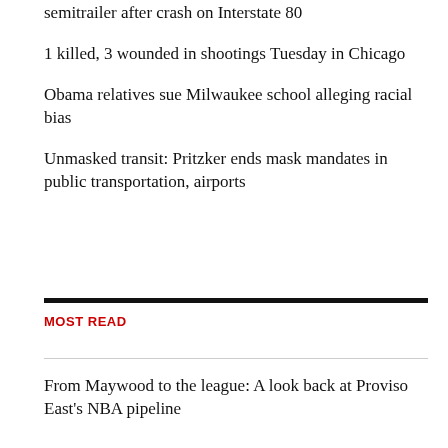semitrailer after crash on Interstate 80
1 killed, 3 wounded in shootings Tuesday in Chicago
Obama relatives sue Milwaukee school alleging racial bias
Unmasked transit: Pritzker ends mask mandates in public transportation, airports
MOST READ
From Maywood to the league: A look back at Proviso East's NBA pipeline